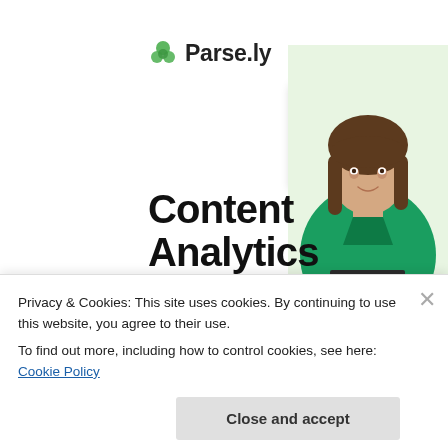Advertisements
[Figure (screenshot): Parse.ly advertisement banner with logo, analytics dashboard screenshot, and a woman in a green sweater smiling. Text reads 'Content Analytics Made Easy']
Privacy & Cookies: This site uses cookies. By continuing to use this website, you agree to their use.
To find out more, including how to control cookies, see here: Cookie Policy
Close and accept